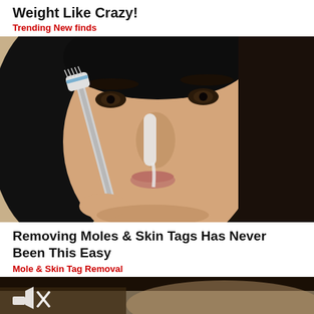Weight Like Crazy!
Trending New finds
[Figure (photo): Close-up of a woman with dark hair applying something white to her nose with a toothbrush/applicator tool]
Removing Moles & Skin Tags Has Never Been This Easy
Mole & Skin Tag Removal
[Figure (photo): Partial view of a person's face/hair, dark toned, with a mute speaker icon in the lower left corner]